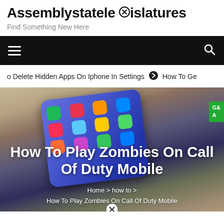Assemblystatelegislatures
Find Something New Here
[Figure (screenshot): Dark navigation bar with hamburger menu on left and search icon on right]
To Delete Hidden Apps On Iphone In Settings  ❯  How To Ge
[Figure (photo): Hands holding a Samsung smartphone with colorful app icons on screen, with title 'How To Play Zombies On Call Of Duty Mobile' overlaid in white bold text, breadcrumb navigation showing Home > how to > How To Play Zombies On Call Of Duty Mobile]
How To Play Zombies On Call Of Duty Mobile
Home > how to > How To Play Zombies On Call Of Duty Mobile